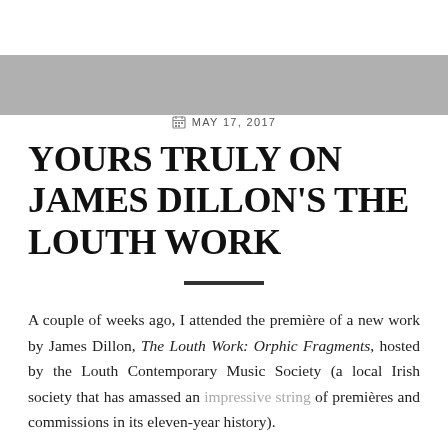MAY 17, 2017
YOURS TRULY ON JAMES DILLON’S THE LOUTH WORK
A couple of weeks ago, I attended the première of a new work by James Dillon, The Louth Work: Orphic Fragments, hosted by the Louth Contemporary Music Society (a local Irish society that has amassed an impressive string of premières and commissions in its eleven-year history).
The Journal of Music published my review: